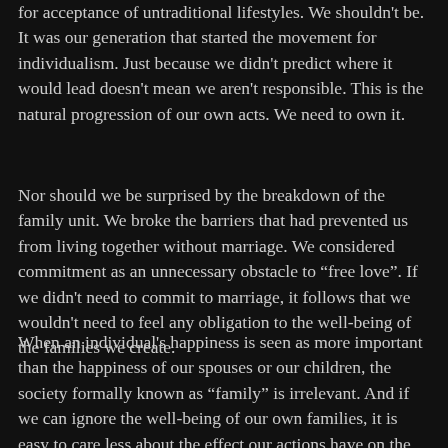for acceptance of untraditional lifestyles. We shouldn't be. It was our generation that started the movement for individualism. Just because we didn't predict where it would lead doesn't mean we aren't responsible. This is the natural progression of our own acts. We need to own it.
Nor should we be surprised by the breakdown of the family unit. We broke the barriers that had prevented us from living together without marriage. We considered commitment as an unnecessary obstacle to “free love”. If we didn't need to commit to marriage, it follows that we wouldn't need to feel any obligation to the well-being of the families we create.
When an individual's happiness is seen as more important than the happiness of our spouses or our children, the society formally known as “family” is irrelevant. And if we can ignore the well-being of our own families, it is easy to care less about the effect our actions have on the larger society.